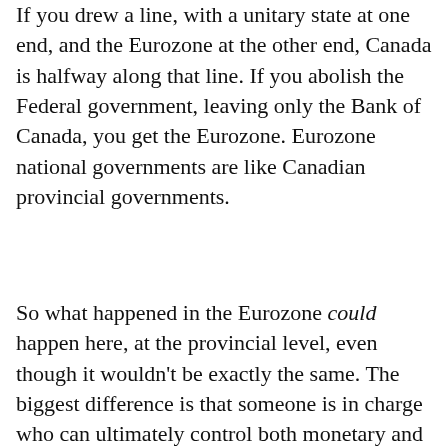If you drew a line, with a unitary state at one end, and the Eurozone at the other end, Canada is halfway along that line. If you abolish the Federal government, leaving only the Bank of Canada, you get the Eurozone. Eurozone national governments are like Canadian provincial governments.
So what happened in the Eurozone could happen here, at the provincial level, even though it wouldn't be exactly the same. The biggest difference is that someone is in charge who can ultimately control both monetary and